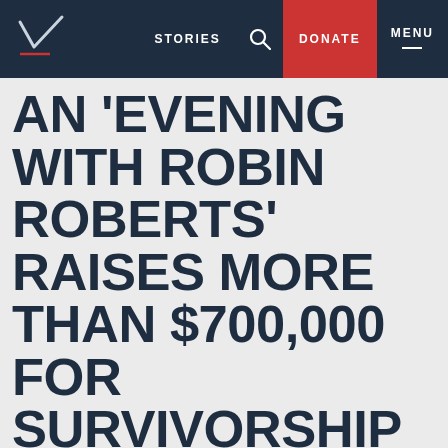STORIES | DONATE | MENU
AN 'EVENING WITH ROBIN ROBERTS' RAISES MORE THAN $700,000 FOR SURVIVORSHIP RESEARCH FUNDED BY THE V FOUNDATION